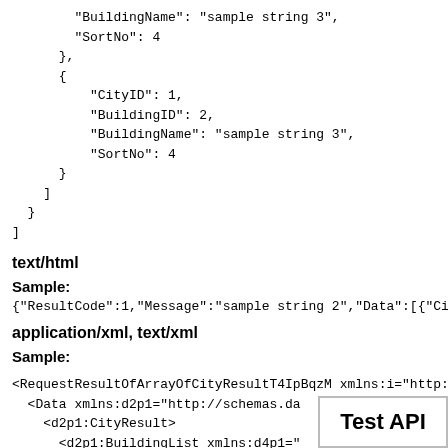"BuildingName": "sample string 3",
"SortNo": 4
},
{
    "CityID": 1,
    "BuildingID": 2,
    "BuildingName": "sample string 3",
    "SortNo": 4
}
]
}
]
text/html
Sample:
{"ResultCode":1,"Message":"sample string 2","Data":[{"Ci
application/xml, text/xml
Sample:
<RequestResultOfArrayOfCityResultT4IpBqzM xmlns:i="http:
  <Data xmlns:d2p1="http://schemas.da
    <d2p1:CityResult>
      <d2p1:BuildingList xmlns:d4p1="
[Figure (other): Test API button box in the bottom right corner]